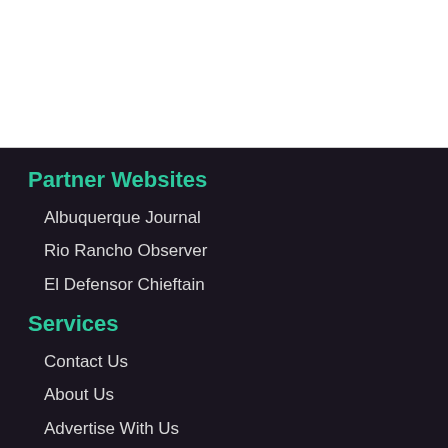[Figure (other): White rectangle / image placeholder area at top of page]
Partner Websites
Albuquerque Journal
Rio Rancho Observer
El Defensor Chieftain
Services
Contact Us
About Us
Advertise With Us